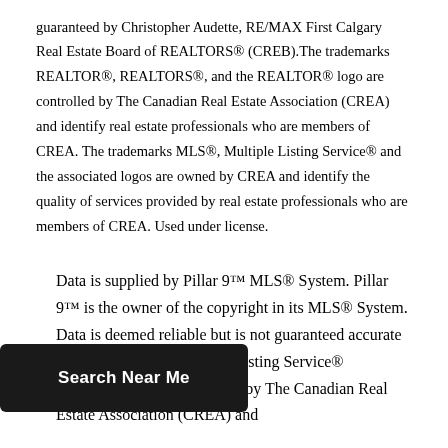guaranteed by Christopher Audette, RE/MAX First Calgary Real Estate Board of REALTORS® (CREB).The trademarks REALTOR®, REALTORS®, and the REALTOR® logo are controlled by The Canadian Real Estate Association (CREA) and identify real estate professionals who are members of CREA. The trademarks MLS®, Multiple Listing Service® and the associated logos are owned by CREA and identify the quality of services provided by real estate professionals who are members of CREA. Used under license.
Data is supplied by Pillar 9™ MLS® System. Pillar 9™ is the owner of the copyright in its MLS® System. Data is deemed reliable but is not guaranteed accurate by Pillar 9™. The Multiple Listing Service® [associated] logos are owned by The Canadian Real Estate Association (CREA) and